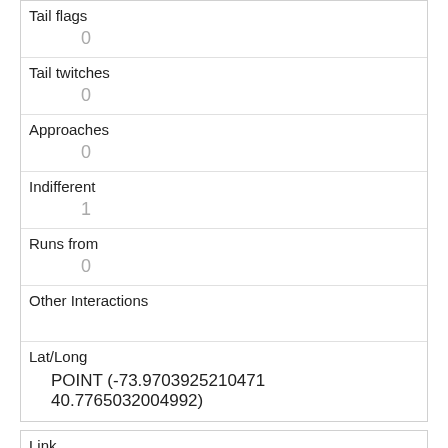| Tail flags | 0 |
| Tail twitches | 0 |
| Approaches | 0 |
| Indifferent | 1 |
| Runs from | 0 |
| Other Interactions |  |
| Lat/Long | POINT (-73.9703925210471 40.7765032004992) |
| Link | 24 |
| rowid | 24 |
| longitude | -73.9584070974734 |